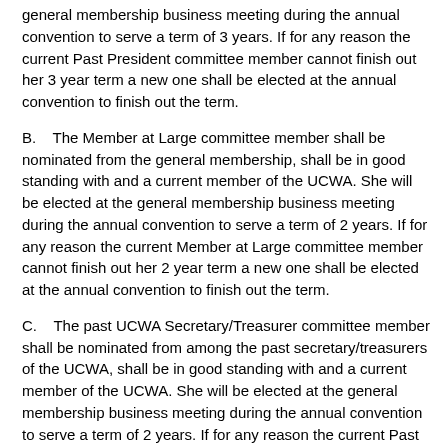general membership business meeting during the annual convention to serve a term of 3 years. If for any reason the current Past President committee member cannot finish out her 3 year term a new one shall be elected at the annual convention to finish out the term.
B.    The Member at Large committee member shall be nominated from the general membership, shall be in good standing with and a current member of the UCWA. She will be elected at the general membership business meeting during the annual convention to serve a term of 2 years. If for any reason the current Member at Large committee member cannot finish out her 2 year term a new one shall be elected at the annual convention to finish out the term.
C.    The past UCWA Secretary/Treasurer committee member shall be nominated from among the past secretary/treasurers of the UCWA, shall be in good standing with and a current member of the UCWA. She will be elected at the general membership business meeting during the annual convention to serve a term of 2 years. If for any reason the current Past President committee member cannot finish out her 2 year term a new one shall be elected at the annual convention to finish out the term.